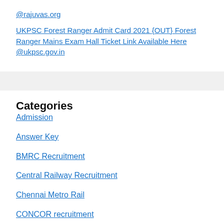@rajuvas.org
UKPSC Forest Ranger Admit Card 2021 {OUT} Forest Ranger Mains Exam Hall Ticket Link Available Here @ukpsc.gov.in
Categories
Admission
Answer Key
BMRC Recruitment
Central Railway Recruitment
Chennai Metro Rail
CONCOR recruitment